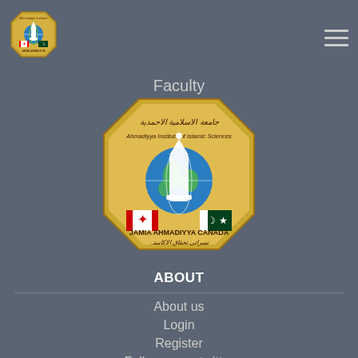[Figure (logo): Jamia Ahmadiyya Canada institutional badge/seal logo in gold with Arabic text, globe, minaret, Canadian and Pakistani flags]
Faculty
ABOUT
About us
Login
Register
Follow us on twitter
CONTACT US
Contacts
Phone: +1 905 000 0000